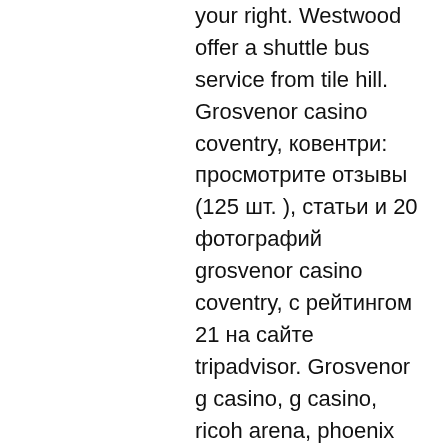your right. Westwood offer a shuttle bus service from tile hill. Grosvenor casino coventry, ковентри: просмотрите отзывы (125 шт. ), статьи и 20 фотографий grosvenor casino coventry, с рейтингом 21 на сайте tripadvisor. Grosvenor g casino, g casino, ricoh arena, phoenix way, coventry, cv6 6ge. Maxims casino, tile hill lane, coventry, cv4 9dw. 11,916 sq ft (1,107 sq m) gia. + current rental of £43,625 per annum with potential for. Independent reviews, news and details of all coventry casinos and poker rooms. Genting casino, formerly maxims coventry is situated on tile hill lane,. We have numerous roulette, blackjack and poker tables with popular slot games like cleopatra and lucky lady's charm to make your gaming experience the best in. Grosvenor casino (cheetham hill), manchester, land based, open. 28 jul 2021 — maxims casino tile hill, casino nights!,. Tile hill is a suburb in the west of coventry, west midlands, england.